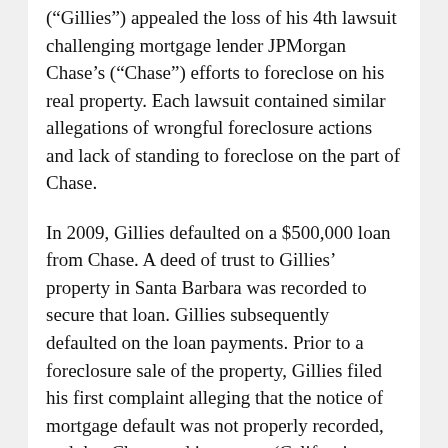(“Gillies”) appealed the loss of his 4th lawsuit challenging mortgage lender JPMorgan Chase’s (“Chase”) efforts to foreclose on his real property. Each lawsuit contained similar allegations of wrongful foreclosure actions and lack of standing to foreclose on the part of Chase.
In 2009, Gillies defaulted on a $500,000 loan from Chase. A deed of trust to Gillies’ property in Santa Barbara was recorded to secure that loan. Gillies subsequently defaulted on the loan payments. Prior to a foreclosure sale of the property, Gillies filed his first complaint alleging that the notice of mortgage default was not properly recorded, and that Chase and its trustee (California Reconveyance Company (“CRC”)) did not properly record and